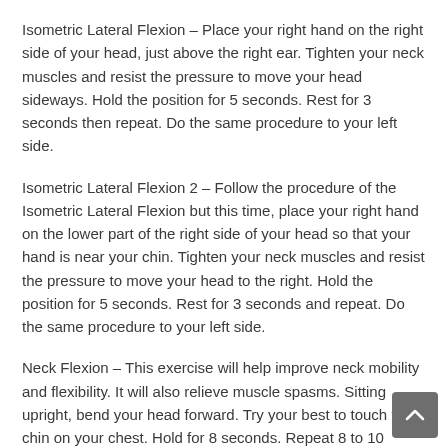Isometric Lateral Flexion – Place your right hand on the right side of your head, just above the right ear. Tighten your neck muscles and resist the pressure to move your head sideways. Hold the position for 5 seconds. Rest for 3 seconds then repeat. Do the same procedure to your left side.
Isometric Lateral Flexion 2 – Follow the procedure of the Isometric Lateral Flexion but this time, place your right hand on the lower part of the right side of your head so that your hand is near your chin. Tighten your neck muscles and resist the pressure to move your head to the right. Hold the position for 5 seconds. Rest for 3 seconds and repeat. Do the same procedure to your left side.
Neck Flexion – This exercise will help improve neck mobility and flexibility. It will also relieve muscle spasms. Sitting upright, bend your head forward. Try your best to touch your chin on your chest. Hold for 8 seconds. Repeat 8 to 10 times.